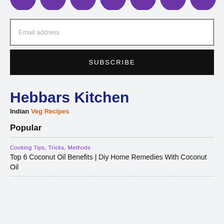[Figure (illustration): Row of partially visible purple circular icons at the top of the page]
Email address
SUBSCRIBE
Hebbars Kitchen
Indian Veg Recipes
Popular
Cooking Tips, Tricks, Methods
Top 6 Coconut Oil Benefits | Diy Home Remedies With Coconut Oil